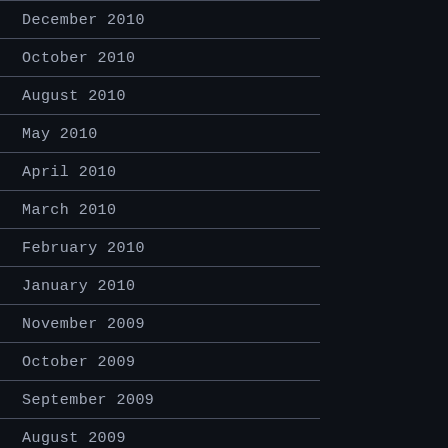December 2010
October 2010
August 2010
May 2010
April 2010
March 2010
February 2010
January 2010
November 2009
October 2009
September 2009
August 2009
July 2009